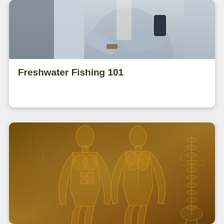[Figure (photo): Partial view of a business person in a grey suit with arms crossed, holding a phone, photographed from chest down]
Freshwater Fishing 101
[Figure (illustration): Vintage anatomical illustration on aged parchment background showing front and back views of human muscular system, plus a spine/skeleton diagram on the right]